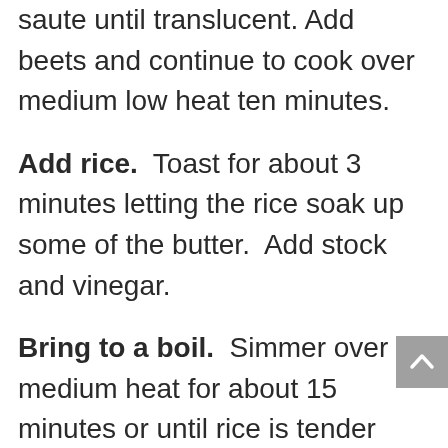saute until translucent. Add beets and continue to cook over medium low heat ten minutes.
Add rice. Toast for about 3 minutes letting the rice soak up some of the butter. Add stock and vinegar.
Bring to a boil. Simmer over medium heat for about 15 minutes or until rice is tender stirring occasionally. If your rice isn't completely done after 15 minutes, don't fret, just add a little more liquid and keep simmering until done.
Remove from heat. Stir 2 tablespoons goat cheese into the rice. Taste and adjust seasoning with salt and pepper. Serve risotto with the remaining goat cheese crumbled on top.